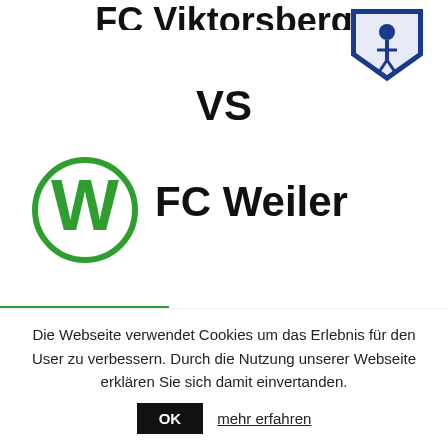FC Viktorsberg
[Figure (logo): FC Viktorsberg shield logo, blue and white with a soccer player figure]
VS
[Figure (logo): FC Weiler logo: green circle with W letter]
FC Weiler
DETAILS
| Datum | Zeit | Liga | Saison | Spieltag |
| --- | --- | --- | --- | --- |
Die Webseite verwendet Cookies um das Erlebnis für den User zu verbessern. Durch die Nutzung unserer Webseite erklären Sie sich damit einvertanden.
OK
mehr erfahren